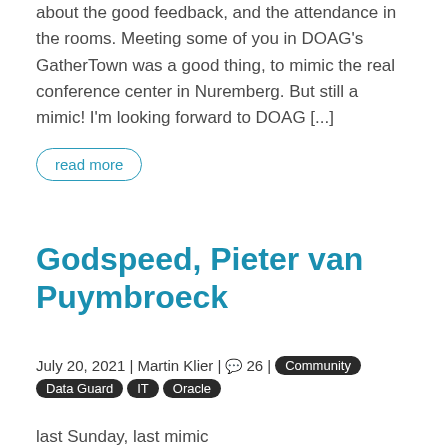about the good feedback, and the attendance in the rooms. Meeting some of you in DOAG’s GatherTown was a good thing, to mimic the real conference center in Nuremberg. But still a mimic! I’m looking forward to DOAG [...]
read more
Godspeed, Pieter van Puymbroeck
July 20, 2021 | Martin Klier | 💬 26 | Community Data Guard IT Oracle
last Sunday, last mimic...